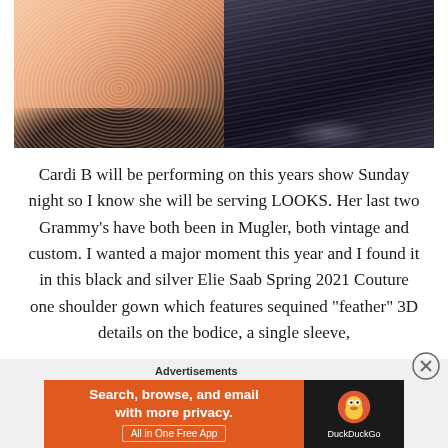[Figure (photo): Two fashion photos side by side: left shows a white/pink ruffled tulle gown (Mugler vintage), right shows a black and silver metallic feathered/pleated gown (Elie Saab) on a dark background]
Cardi B will be performing on this years show Sunday night so I know she will be serving LOOKS. Her last two Grammy's have both been in Mugler, both vintage and custom. I wanted a major moment this year and I found it in this black and silver Elie Saab Spring 2021 Couture one shoulder gown which features sequined “feather” 3D details on the bodice, a single sleeve,
Advertisements
[Figure (screenshot): DuckDuckGo advertisement banner: orange section reads 'Search, browse, and email with more privacy. All in One Free App', black section shows DuckDuckGo logo and name]